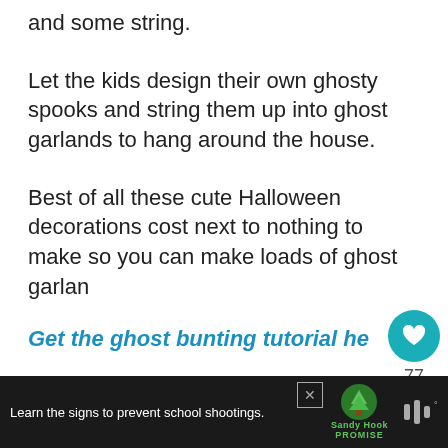and some string.
Let the kids design their own ghosty spooks and string them up into ghost garlands to hang around the house.
Best of all these cute Halloween decorations cost next to nothing to make so you can make loads of ghost garlan
Get the ghost bunting tutorial he
[Figure (infographic): Floating UI panel with heart/like button showing teal circle with heart icon, count '77', and share button below]
[Figure (infographic): What's Next panel showing circular thumbnail of Halloween decoration and text 'WHAT'S NEXT → No Flame DIY Halloween...']
[Figure (infographic): Dark advertisement bar at bottom: 'Learn the signs to prevent school shootings.' with Sandy Hook Promise logo and mute icon]